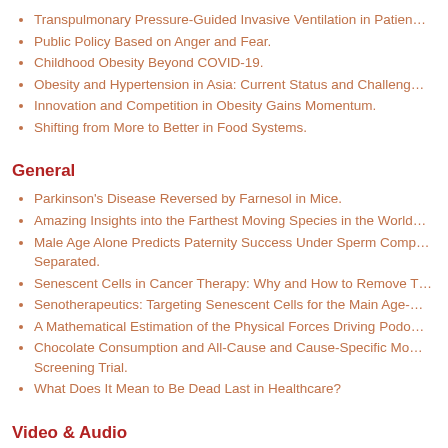Transpulmonary Pressure-Guided Invasive Ventilation in Patients…
Public Policy Based on Anger and Fear.
Childhood Obesity Beyond COVID-19.
Obesity and Hypertension in Asia: Current Status and Challeng…
Innovation and Competition in Obesity Gains Momentum.
Shifting from More to Better in Food Systems.
General
Parkinson's Disease Reversed by Farnesol in Mice.
Amazing Insights into the Farthest Moving Species in the World…
Male Age Alone Predicts Paternity Success Under Sperm Comp… Separated.
Senescent Cells in Cancer Therapy: Why and How to Remove T…
Senotherapeutics: Targeting Senescent Cells for the Main Age-…
A Mathematical Estimation of the Physical Forces Driving Podo…
Chocolate Consumption and All-Cause and Cause-Specific Mo… Screening Trial.
What Does It Mean to Be Dead Last in Healthcare?
Video & Audio